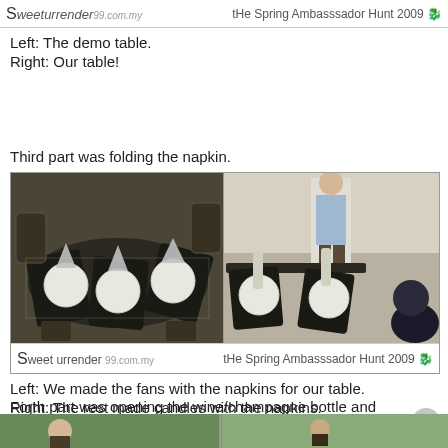Sweet Surrender 99.com.my — tHe Spring Ambasssador Hunt 2009
Left: The demo table.
Right: Our table!
Third part was folding the napkin.
[Figure (photo): Two side-by-side photos of decorated dining tables with plates, napkins folded as fans or candles, dark placemats, and glassware. Left: demo table with silver folded napkins. Right: participants' table.]
Left: We made the fans with the napkins for our table.
Right: The rest made candles with the napkins.
Forth part was opening the wine/champagne bottle and how to pour it into the glass.
[Figure (photo): Bottom strip showing partial photo of people at an event.]